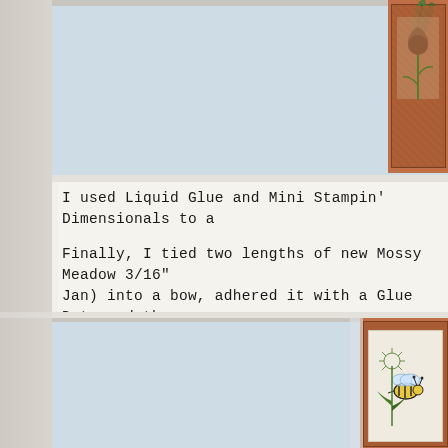[Figure (photo): Top portion of a crafted greeting card with terracotta/rust colored background and decorative elements, partially visible on the right side against a light blue background.]
I used Liquid Glue and Mini Stampin' Dimensionals to a
Finally, I tied two lengths of new Mossy Meadow 3/16" Jan) into a bow, adhered it with a Glue Dot, and the ca
On the inside, I added a Garden Wishes dandelion in Bla panel.  Then I stamped the little bee again in Tuxedo Bl Marker and Clear Wink of Stella).  Behind the bee, in st added the bee-trail image from Garden Wishes!
[Figure (photo): Bottom portion showing a terracotta/rust colored card with a white inner panel featuring a bee illustration, placed against a light blue background.]